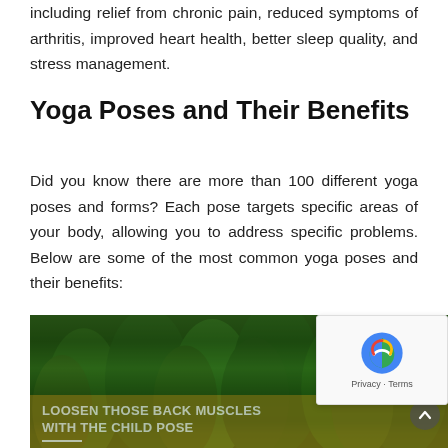including relief from chronic pain, reduced symptoms of arthritis, improved heart health, better sleep quality, and stress management.
Yoga Poses and Their Benefits
Did you know there are more than 100 different yoga poses and forms? Each pose targets specific areas of your body, allowing you to address specific problems. Below are some of the most common yoga poses and their benefits:
[Figure (photo): Forest/nature photo with dark green trees and a golden banner overlay reading 'LOOSEN THOSE BACK MUSCLES WITH THE CHILD POSE'. Credit: Balu Gáspár.]
Credit: Balu Gáspár |